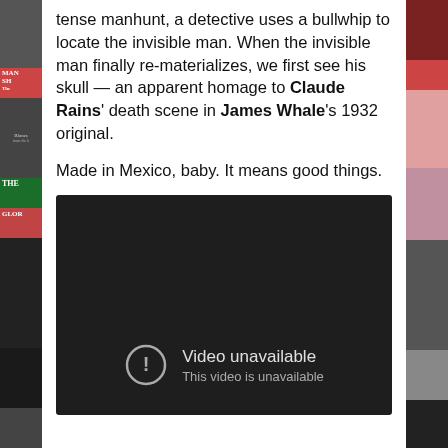tense manhunt, a detective uses a bullwhip to locate the invisible man. When the invisible man finally re-materializes, we first see his skull — an apparent homage to Claude Rains' death scene in James Whale's 1932 original.

Made in Mexico, baby. It means good things.
[Figure (screenshot): Embedded video player showing 'Video unavailable. This video is unavailable.' message on dark background.]
[Figure (photo): Left sidebar strip showing album covers and photos in a collage.]
[Figure (photo): Right sidebar strip showing album covers and photos in a collage.]